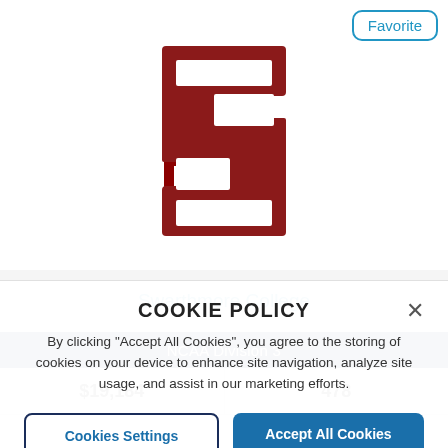[Figure (logo): Swarthmore College Block S logo in crimson red with white outline]
Favorite
Swarthmore College
NCAA Division 3
| $19,184 | 478 |
COOKIE POLICY
By clicking "Accept All Cookies", you agree to the storing of cookies on your device to enhance site navigation, analyze site usage, and assist in our marketing efforts.
Cookies Settings
Accept All Cookies